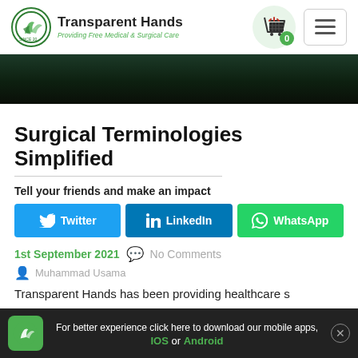[Figure (logo): Transparent Hands logo with green circle icon, bold title and italic green subtitle 'Providing Free Medical & Surgical Care']
[Figure (infographic): Dark green banner/hero image area]
Surgical Terminologies Simplified
Tell your friends and make an impact
[Figure (infographic): Social share buttons: Twitter (blue), LinkedIn (dark blue), WhatsApp (green)]
1st September 2021   No Comments
Muhammad Usama
Transparent Hands has been providing healthcare s
For better experience click here to download our mobile apps, IOS or Android